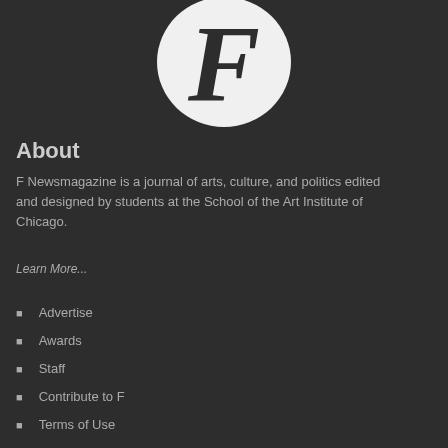[Figure (logo): Large white letter F on dark background, circular logo for F Newsmagazine]
About
F Newsmagazine is a journal of arts, culture, and politics edited and designed by students at the School of the Art Institute of Chicago.
Learn More...
Advertise
Awards
Staff
Contribute to F
Terms of Use